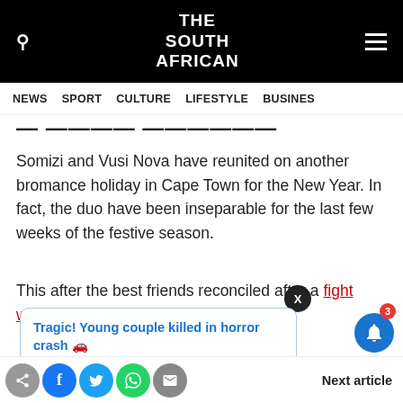THE SOUTH AFRICAN
NEWS  SPORT  CULTURE  LIFESTYLE  BUSINESS
... (partial title visible)
Somizi and Vusi Nova have reunited on another bromance holiday in Cape Town for the New Year. In fact, the duo have been inseparable for the last few weeks of the festive season.
This after the best friends reconciled after a fight which almost turned physical.
Tragic! Young couple killed in horror crash 🚗
1 hour ago